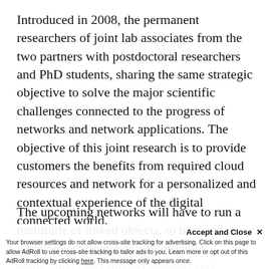Introduced in 2008, the permanent researchers of joint lab associates from the two partners with postdoctoral researchers and PhD students, sharing the same strategic objective to solve the major scientific challenges connected to the progress of networks and network applications. The objective of this joint research is to provide customers the benefits from required cloud resources and network for a personalized and contextual experience of the digital connected world.
The upcoming networks will have to run a multitude of linked obiects, to host and interconnect tremendously distribut...
Accept and Close ×
Your browser settings do not allow cross-site tracking for advertising. Click on this page to allow AdRoll to use cross-site tracking to tailor ads to you. Learn more or opt out of this AdRoll tracking by clicking here. This message only appears once.